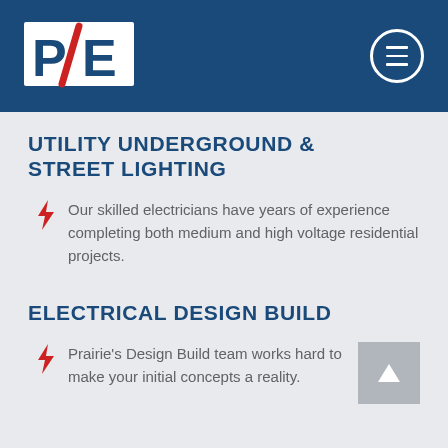P/E logo and navigation menu
UTILITY UNDERGROUND & STREET LIGHTING
Our skilled electricians have years of experience completing both medium and high voltage residential projects.
ELECTRICAL DESIGN BUILD
Prairie's Design Build team works hard to make your initial concepts a reality.